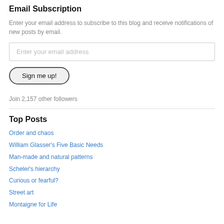Email Subscription
Enter your email address to subscribe to this blog and receive notifications of new posts by email.
[Figure (screenshot): Email input field with placeholder 'Enter your email address' and a 'Sign me up!' button below it]
Join 2,157 other followers
Top Posts
Order and chaos
William Glasser's Five Basic Needs
Man-made and natural patterns
Scheler's hierarchy
Curious or fearful?
Street art
Montaigne for Life